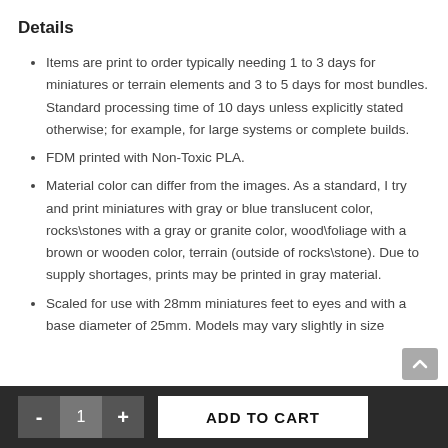Details
Items are print to order typically needing 1 to 3 days for miniatures or terrain elements and 3 to 5 days for most bundles. Standard processing time of 10 days unless explicitly stated otherwise; for example, for large systems or complete builds.
FDM printed with Non-Toxic PLA.
Material color can differ from the images. As a standard, I try and print miniatures with gray or blue translucent color, rocks\stones with a gray or granite color, wood\foliage with a brown or wooden color, terrain (outside of rocks\stone). Due to supply shortages, prints may be printed in gray material.
Scaled for use with 28mm miniatures feet to eyes and with a base diameter of 25mm. Models may vary slightly in size